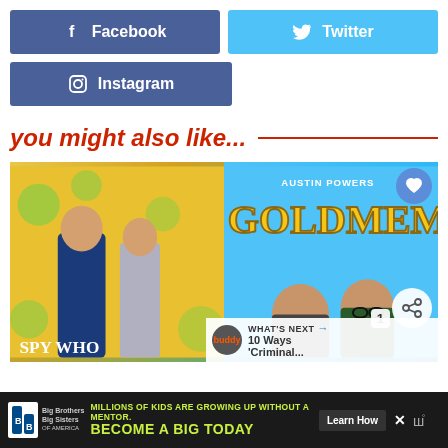[Figure (screenshot): Facebook social share button - blue background with f icon and 'Facebook' text]
[Figure (screenshot): Twitter social share button - light blue background with bird icon and 'Twitter' text]
[Figure (screenshot): Instagram social share button - steel blue background with camera icon and 'Instagram' text]
you might also like...
[Figure (screenshot): Movie poster collage - Austin Powers / Goldmember movie posters with love and share buttons, count badge showing 1, and 'WHAT'S NEXT' bar showing '10 Ways Criminal...']
[Figure (screenshot): Ad bar at bottom - Big Brothers Big Sisters ad: 'MILLIONS OF KIDS ARE GROWING UP WITHOUT A MENTOR. BECOME A BIG TODAY' with Learn How button]